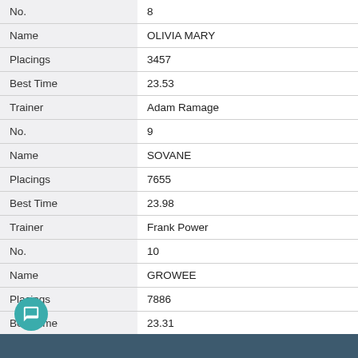| Field | Value |
| --- | --- |
| No. | 8 |
| Name | OLIVIA MARY |
| Placings | 3457 |
| Best Time | 23.53 |
| Trainer | Adam Ramage |
| No. | 9 |
| Name | SOVANE |
| Placings | 7655 |
| Best Time | 23.98 |
| Trainer | Frank Power |
| No. | 10 |
| Name | GROWEE |
| Placings | 7886 |
| Best Time | 23.31 |
| Trainer | Charlie Lamb |